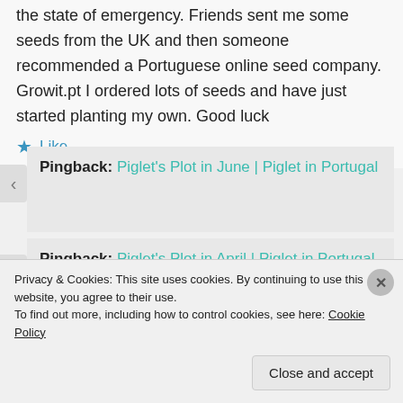the state of emergency. Friends sent me some seeds from the UK and then someone recommended a Portuguese online seed company. Growit.pt I ordered lots of seeds and have just started planting my own. Good luck
★ Like
Pingback: Piglet's Plot in June | Piglet in Portugal
Pingback: Piglet's Plot in April | Piglet in Portugal
Pingback: Piglet's Plot in March | Piglet in
Privacy & Cookies: This site uses cookies. By continuing to use this website, you agree to their use.
To find out more, including how to control cookies, see here: Cookie Policy
Close and accept